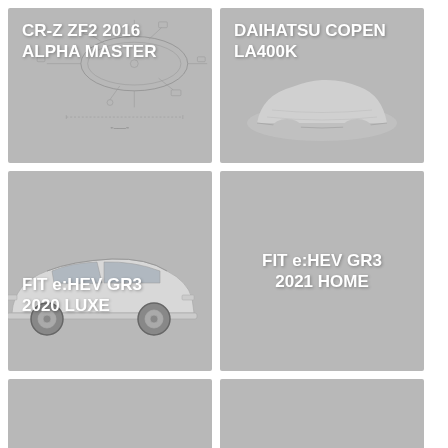[Figure (illustration): CR-Z ZF2 2016 ALPHA MASTER - engineering parts diagram on grey background]
[Figure (photo): DAIHATSU COPEN LA400K - car covered with grey car cover]
[Figure (photo): FIT e:HEV GR3 2020 LUXE - Honda Fit hatchback on grey background]
[Figure (photo): FIT e:HEV GR3 2021 HOME - grey background with text label only]
[Figure (photo): Bottom left card - grey background, partial view]
[Figure (photo): Bottom right card - grey background, partial view]